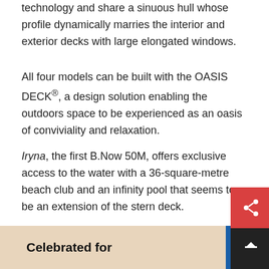technology and share a sinuous hull whose profile dynamically marries the interior and exterior decks with large elongated windows.
All four models can be built with the OASIS DECK®, a design solution enabling the outdoors space to be experienced as an oasis of conviviality and relaxation.
Iryna, the first B.Now 50M, offers exclusive access to the water with a 36-square-metre beach club and an infinity pool that seems to be an extension of the stern deck.
Nearly half the liveable surface area is outdoor, while the fully customisable interiors embody all Benetti's traditional craftsmanship and quality, as well as being enriched by sophisticated detailing in palladium, one of the most precious metals in the world.
[Figure (other): Bottom banner showing 'Celebrated for' text with a blue logo/icon on the right side]